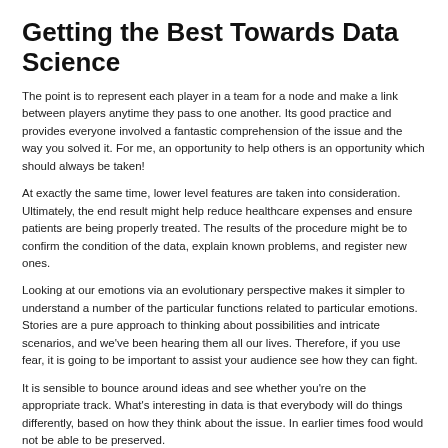Getting the Best Towards Data Science
The point is to represent each player in a team for a node and make a link between players anytime they pass to one another. Its good practice and provides everyone involved a fantastic comprehension of the issue and the way you solved it. For me, an opportunity to help others is an opportunity which should always be taken!
At exactly the same time, lower level features are taken into consideration. Ultimately, the end result might help reduce healthcare expenses and ensure patients are being properly treated. The results of the procedure might be to confirm the condition of the data, explain known problems, and register new ones.
Looking at our emotions via an evolutionary perspective makes it simpler to understand a number of the particular functions related to particular emotions. Stories are a pure approach to thinking about possibilities and intricate scenarios, and we've been hearing them all our lives. Therefore, if you use fear, it is going to be important to assist your audience see how they can fight.
It is sensible to bounce around ideas and see whether you're on the appropriate track. What's interesting in data is that everybody will do things differently, based on how they think about the issue. In earlier times food would not be able to be preserved.